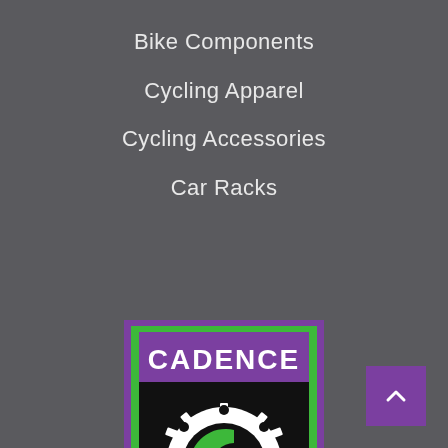Bike Components
Cycling Apparel
Cycling Accessories
Car Racks
[Figure (logo): Cadence Cyclery shield logo with purple top banner reading CADENCE, black lower section with white gear/C emblem, green border, CYCLERY text, and purple star at bottom]
[Figure (other): Purple scroll-to-top button with upward chevron arrow]